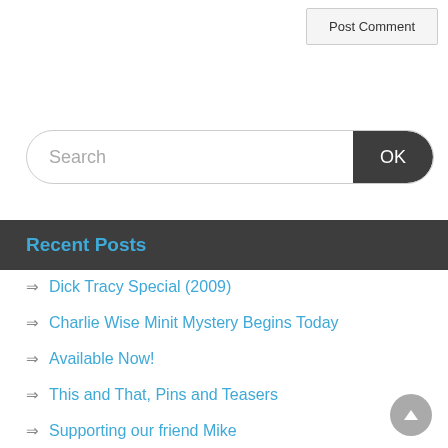Post Comment
Search
Recent Posts
Dick Tracy Special (2009)
Charlie Wise Minit Mystery Begins Today
Available Now!
This and That, Pins and Teasers
Supporting our friend Mike